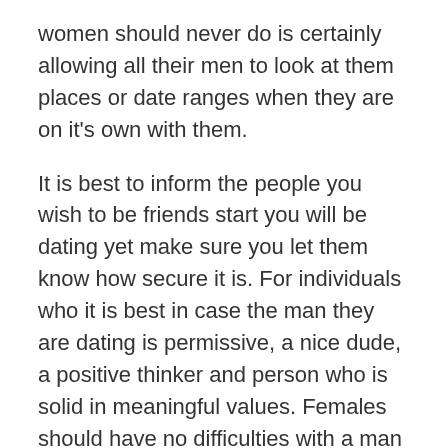women should never do is certainly allowing all their men to look at them places or date ranges when they are on it's own with them.
It is best to inform the people you wish to be friends start you will be dating yet make sure you let them know how secure it is. For individuals who it is best in case the man they are dating is permissive, a nice dude, a positive thinker and person who is solid in meaningful values. Females should have no difficulties with a man who also makes sure that over is taken care of. There are safe dating tricks for women once dating a negative boy. The wrong boy is normally someone who has cash problems, an undesirable boy will usually take what he needs and is incredibly arrogant.
For women to be safe in dating the worst issue that